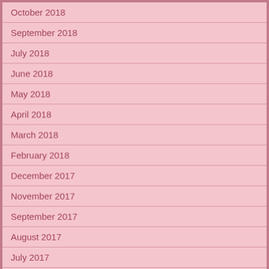October 2018
September 2018
July 2018
June 2018
May 2018
April 2018
March 2018
February 2018
December 2017
November 2017
September 2017
August 2017
July 2017
June 2017
May 2017